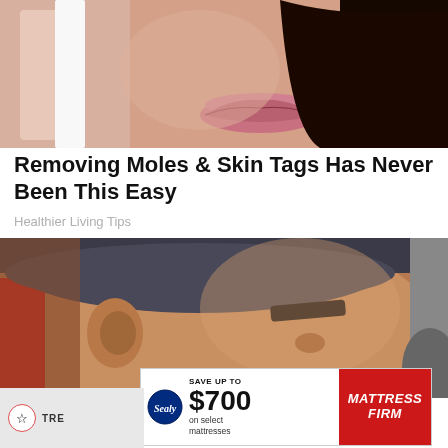[Figure (photo): Close-up photo of a woman's face, showing lips and dark hair, with a hand holding something near her face]
Removing Moles & Skin Tags Has Never Been This Easy
Healthier Living Tips
[Figure (photo): Close-up photo of a man wearing a baseball cap with eye black on his cheek, looking sideways]
[Figure (advertisement): Mattress Firm advertisement: SAVE UP TO $700 on select mattresses, with Sealy logo and red Mattress Firm branding on the right]